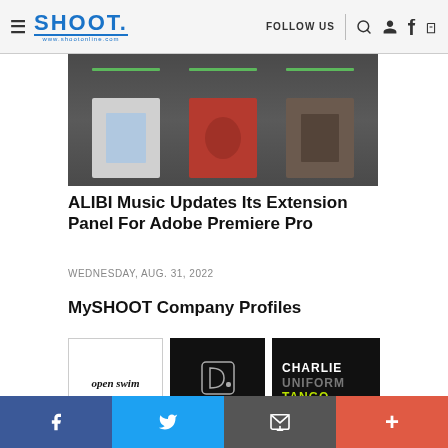SHOOT. | FOLLOW US
[Figure (screenshot): Screenshot of ALIBI Music Extension Panel interface for Adobe Premiere Pro showing album artwork thumbnails]
ALIBI Music Updates Its Extension Panel For Adobe Premiere Pro
WEDNESDAY, AUG. 31, 2022
MySHOOT Company Profiles
[Figure (logo): Open Swim company logo in white box]
[Figure (logo): Digital Domain company logo on black background]
[Figure (logo): Charlie Uniform Tango company logo on black background]
Social sharing bar: Facebook, Twitter, Email, More